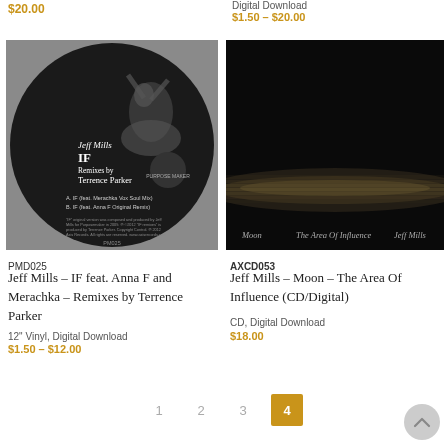$20.00
Digital Download
$1.50 – $20.00
[Figure (photo): Vinyl record image for Jeff Mills IF Remixes by Terrence Parker (PMD025), black circle label with dancer figure]
PMD025
Jeff Mills – IF feat. Anna F and Merachka – Remixes by Terrence Parker
12" Vinyl, Digital Download
$1.50 – $12.00
[Figure (photo): Dark atmospheric photo for Jeff Mills Moon – The Area Of Influence (AXCD053), black background with faint light on water horizon, text reads Moon, The Area Of Influence, Jeff Mills]
AXCD053
Jeff Mills – Moon – The Area Of Influence (CD/Digital)
CD, Digital Download
$18.00
1
2
3
4